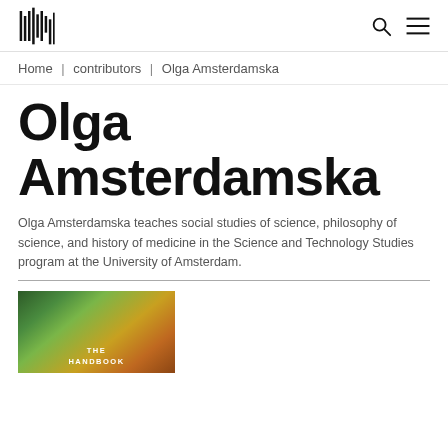[Logo] [Search icon] [Menu icon]
Home | contributors | Olga Amsterdamska
Olga Amsterdamska
Olga Amsterdamska teaches social studies of science, philosophy of science, and history of medicine in the Science and Technology Studies program at the University of Amsterdam.
[Figure (photo): Book cover showing 'THE HANDBOOK' text on a colorful abstract background with green, orange and brown tones]